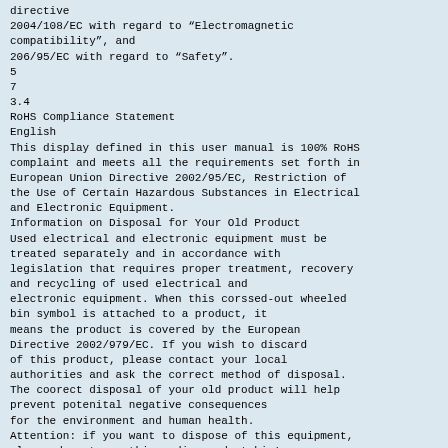directive
2004/108/EC with regard to “Electromagnetic compatibility”, and
206/95/EC with regard to “Safety”.
5
7
3.4
RoHS Compliance Statement
English
This display defined in this user manual is 100% RoHS complaint and meets all the requirements set forth in European Union Directive 2002/95/EC, Restriction of the Use of Certain Hazardous Substances in Electrical and Electronic Equipment.
Information on Disposal for Your Old Product
Used electrical and electronic equipment must be treated separately and in accordance with legislation that requires proper treatment, recovery and recycling of used electrical and electronic equipment. When this corssed-out wheeled bin symbol is attached to a product, it means the product is covered by the European Directive 2002/979/EC. If you wish to discard of this product, please contact your local authorities and ask the correct method of disposal. The coorect disposal of your old product will help prevent potenital negative consequences for the environment and human health.
Attention: if you want to dispose of this equipment, please do not use this ordinary dust bin!
ol
Français